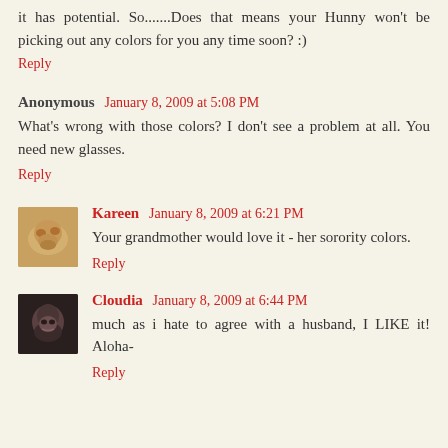it has potential. So.......Does that means your Hunny won't be picking out any colors for you any time soon? :)
Reply
Anonymous January 8, 2009 at 5:08 PM
What's wrong with those colors? I don't see a problem at all. You need new glasses.
Reply
Kareen January 8, 2009 at 6:21 PM
Your grandmother would love it - her sorority colors.
Reply
Cloudia January 8, 2009 at 6:44 PM
much as i hate to agree with a husband, I LIKE it! Aloha-
Reply